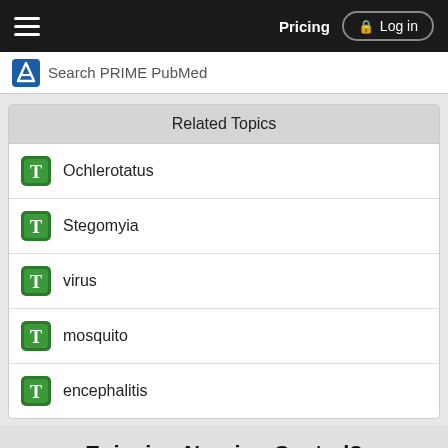Pricing  Log in
Search PRIME PubMed
Related Topics
Ochlerotatus
Stegomyia
virus
mosquito
encephalitis
Enjoying Nursing Central?
Purchase a subscription
I'm already a subscriber